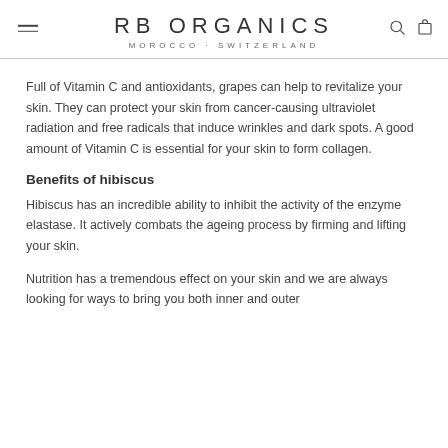RB ORGANICS MOROCCO · SWITZERLAND
Full of Vitamin C and antioxidants, grapes can help to revitalize your skin. They can protect your skin from cancer-causing ultraviolet radiation and free radicals that induce wrinkles and dark spots. A good amount of Vitamin C is essential for your skin to form collagen.
Benefits of hibiscus
Hibiscus has an incredible ability to inhibit the activity of the enzyme elastase. It actively combats the ageing process by firming and lifting your skin.
Nutrition has a tremendous effect on your skin and we are always looking for ways to bring you both inner and outer